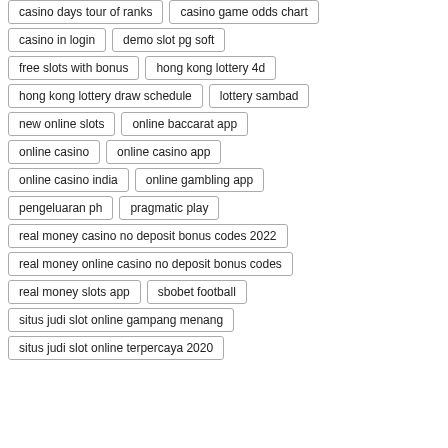casino days tour of ranks
casino game odds chart
casino in login
demo slot pg soft
free slots with bonus
hong kong lottery 4d
hong kong lottery draw schedule
lottery sambad
new online slots
online baccarat app
online casino
online casino app
online casino india
online gambling app
pengeluaran ph
pragmatic play
real money casino no deposit bonus codes 2022
real money online casino no deposit bonus codes
real money slots app
sbobet football
situs judi slot online gampang menang
situs judi slot online terpercaya 2020